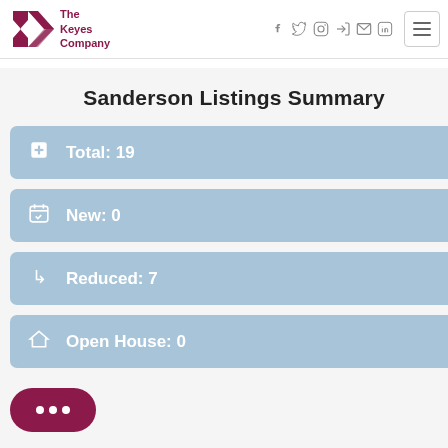[Figure (logo): The Keyes Company logo with stylized K in dark red/maroon and company name text]
Sanderson Listings Summary
Total: 19
New: 0
Reduced: 7
Open House: 0